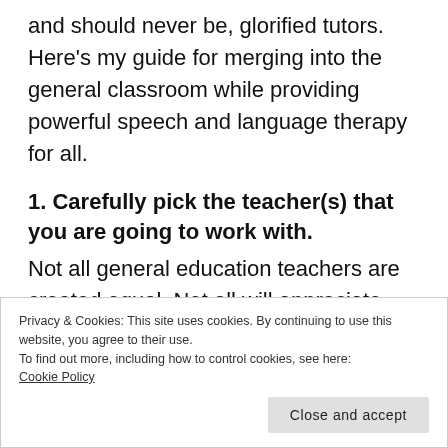and should never be, glorified tutors. Here's my guide for merging into the general classroom while providing powerful speech and language therapy for all.
1. Carefully pick the teacher(s) that you are going to work with.
Not all general education teachers are created equal. Not all will appreciate having
Privacy & Cookies: This site uses cookies. By continuing to use this website, you agree to their use.
To find out more, including how to control cookies, see here:
Cookie Policy
Close and accept